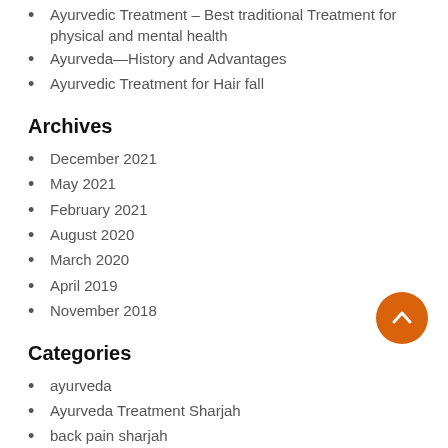Ayurvedic Treatment – Best traditional Treatment for physical and mental health
Ayurveda—History and Advantages
Ayurvedic Treatment for Hair fall
Archives
December 2021
May 2021
February 2021
August 2020
March 2020
April 2019
November 2018
Categories
ayurveda
Ayurveda Treatment Sharjah
back pain sharjah
Uncategorized